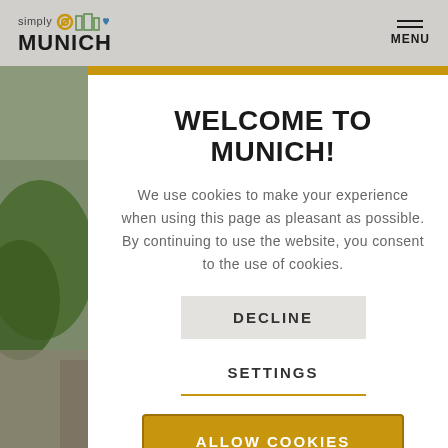simply MUNICH — MENU
[Figure (screenshot): Cookie consent popup modal on Simply Munich tourism website with background photo of trees and a building]
WELCOME TO MUNICH!
We use cookies to make your experience when using this page as pleasant as possible. By continuing to use the website, you consent to the use of cookies.
DECLINE
SETTINGS
ALLOW COOKIES